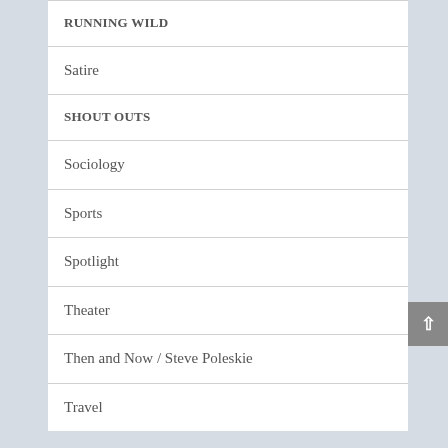RUNNING WILD
Satire
SHOUT OUTS
Sociology
Sports
Spotlight
Theater
Then and Now / Steve Poleskie
Travel